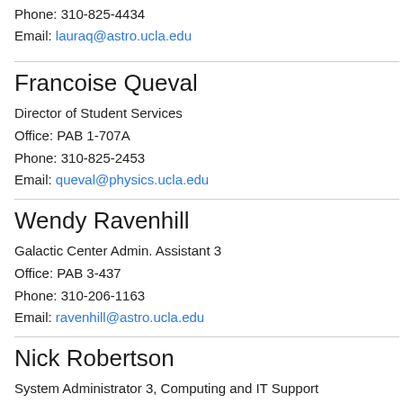Phone: 310-825-4434
Email: lauraq@astro.ucla.edu
Francoise Queval
Director of Student Services
Office: PAB 1-707A
Phone: 310-825-2453
Email: queval@physics.ucla.edu
Wendy Ravenhill
Galactic Center Admin. Assistant 3
Office: PAB 3-437
Phone: 310-206-1163
Email: ravenhill@astro.ucla.edu
Nick Robertson
System Administrator 3, Computing and IT Support